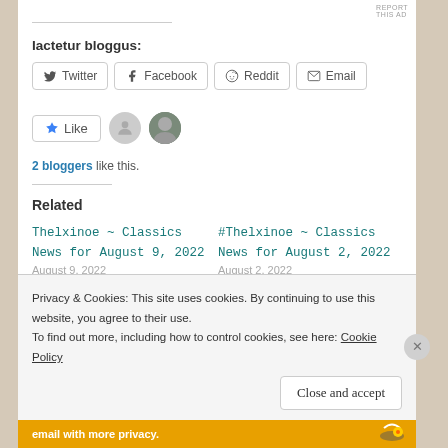REPORT THIS AD
Iactetur bloggus:
[Figure (other): Social share buttons: Twitter, Facebook, Reddit, Email]
[Figure (other): Like button with 2 blogger avatars]
2 bloggers like this.
Related
Thelxinoe ~ Classics News for August 9, 2022
#Thelxinoe ~ Classics News for August 2, 2022
August 9, 2022
August 2, 2022
Privacy & Cookies: This site uses cookies. By continuing to use this website, you agree to their use.
To find out more, including how to control cookies, see here: Cookie Policy
Close and accept